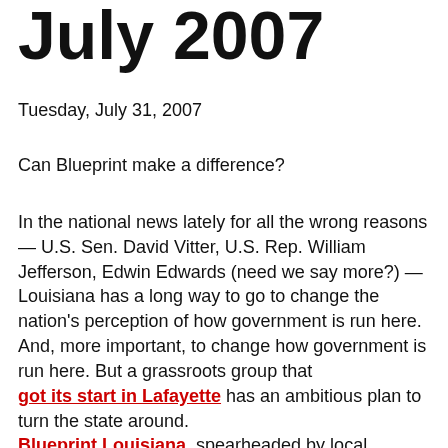July 2007
Tuesday, July 31, 2007
Can Blueprint make a difference?
In the national news lately for all the wrong reasons — U.S. Sen. David Vitter, U.S. Rep. William Jefferson, Edwin Edwards (need we say more?) — Louisiana has a long way to go to change the nation's perception of how government is run here. And, more important, to change how government is run here. But a grassroots group that got its start in Lafayette has an ambitious plan to turn the state around. Blueprint Louisiana, spearheaded by local businessmen Matt Stuller, Bill Fenstermaker and Clay Allon, who is also an attorney, unveiled its